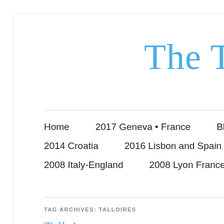The Tra
Home  2017 Geneva • France  Blog  2016 North
2014 Croatia  2016 Lisbon and Spain  2012 Northern
2008 Italy-England  2008 Lyon France  2007 Italy
TAG ARCHIVES: TALLOIRES
Talloires
POSTED ON SEPTEMBER 24, 2017